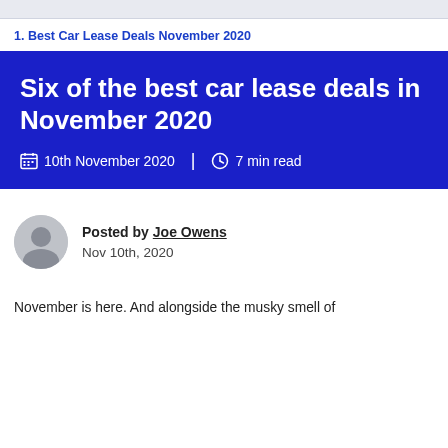1. Best Car Lease Deals November 2020
Six of the best car lease deals in November 2020
10th November 2020 | 7 min read
Posted by Joe Owens
Nov 10th, 2020
November is here. And alongside the musky smell of